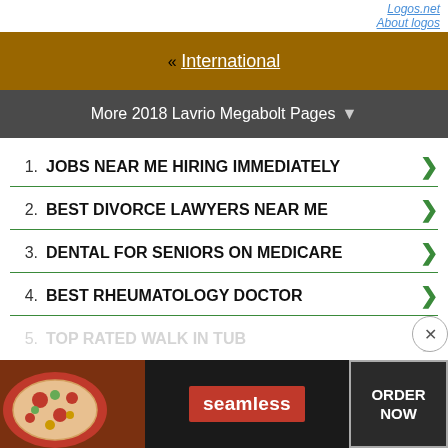Logos.net
About logos
« International
More 2018 Lavrio Megabolt Pages ▼
1. JOBS NEAR ME HIRING IMMEDIATELY
2. BEST DIVORCE LAWYERS NEAR ME
3. DENTAL FOR SENIORS ON MEDICARE
4. BEST RHEUMATOLOGY DOCTOR
5. TOP RATED WALK IN TUB
[Figure (screenshot): Seamless food delivery advertisement banner with pizza image, Seamless logo, and ORDER NOW button]